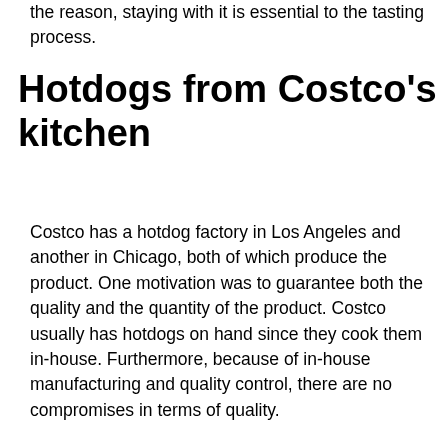the reason, staying with it is essential to the tasting process.
Hotdogs from Costco's kitchen
Costco has a hotdog factory in Los Angeles and another in Chicago, both of which produce the product. One motivation was to guarantee both the quality and the quantity of the product. Costco usually has hotdogs on hand since they cook them in-house. Furthermore, because of in-house manufacturing and quality control, there are no compromises in terms of quality.